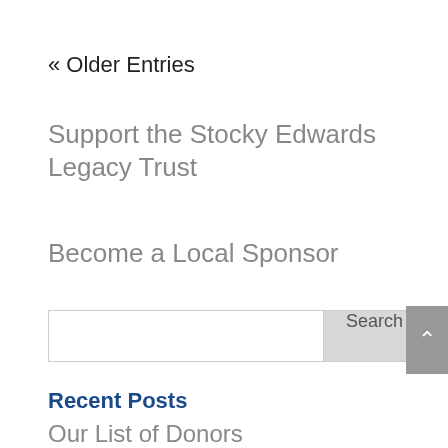« Older Entries
Support the Stocky Edwards Legacy Trust
Become a Local Sponsor
Recent Posts
Our List of Donors
The Spitfire over Nautical Days